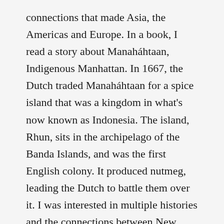connections that made Asia, the Americas and Europe. In a book, I read a story about Manaháhtaan, Indigenous Manhattan. In 1667, the Dutch traded Manaháhtaan for a spice island that was a kingdom in what's now known as Indonesia. The island, Rhun, sits in the archipelago of the Banda Islands, and was the first English colony. It produced nutmeg, leading the Dutch to battle them over it. I was interested in multiple histories and the connections between New York and this island that has Austronesian ties, that helped me feel anchored in its history of circulations.
The Bandanese, along with others in the Southeast Asian region, have a very